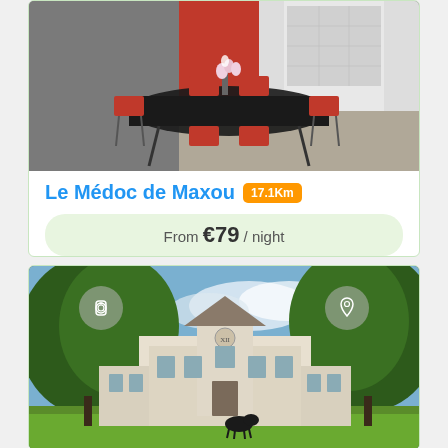[Figure (photo): Interior dining room photo showing red chairs around a black glass table, with a white fireplace in background]
Le Médoc de Maxou  17.1Km
From €79 / night
Book Now
Contact
[Figure (photo): Exterior photo of a château/manor house with large trees, green lawn, and a black animal on the grass]